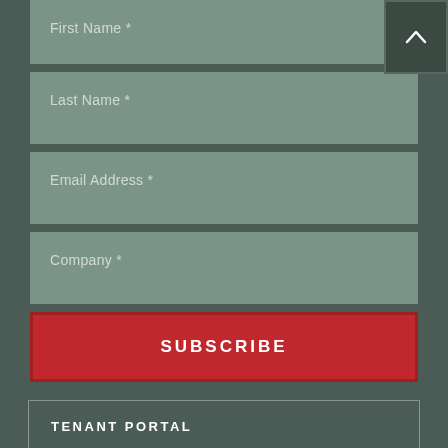First Name *
Last Name *
Email Address *
Company *
SUBSCRIBE
TENANT PORTAL
RESOURCE CENTER